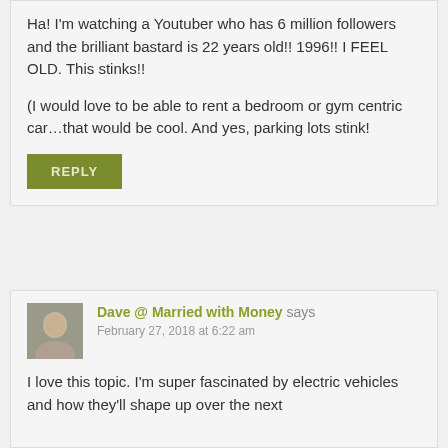Ha! I'm watching a Youtuber who has 6 million followers and the brilliant bastard is 22 years old!! 1996!! I FEEL OLD. This stinks!!

(I would love to be able to rent a bedroom or gym centric car...that would be cool. And yes, parking lots stink!
REPLY
Dave @ Married with Money says
February 27, 2018 at 6:22 am
I love this topic. I'm super fascinated by electric vehicles and how they'll shape up over the next